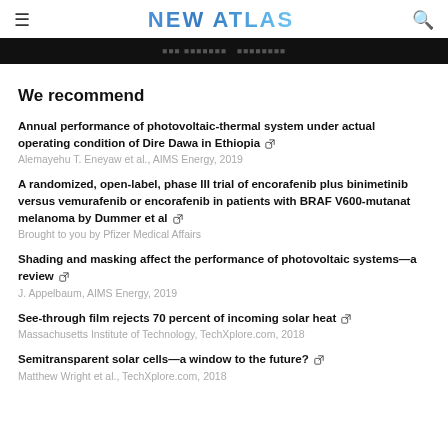NEW ATLAS
[Figure (screenshot): Dark hero banner bar with faint text overlay]
We recommend
Annual performance of photovoltaic-thermal system under actual operating condition of Dire Dawa in Ethiopia | Alemayehu T. Eneyaw et al., AIMS Energy, 2019
A randomized, open-label, phase III trial of encorafenib plus binimetinib versus vemurafenib or encorafenib in patients with BRAF V600-mutanat melanoma by Dummer et al | Brought to you by Pfizer Medical Affairs
Shading and masking affect the performance of photovoltaic systems—a review | J. Appelbaum, AIMS Energy, 2019
See-through film rejects 70 percent of incoming solar heat | Massachusetts Institute of Technology, TechXplore.com, 2018
Semitransparent solar cells—a window to the future? | Matthew Wright et al., TechXplore.com, 2018